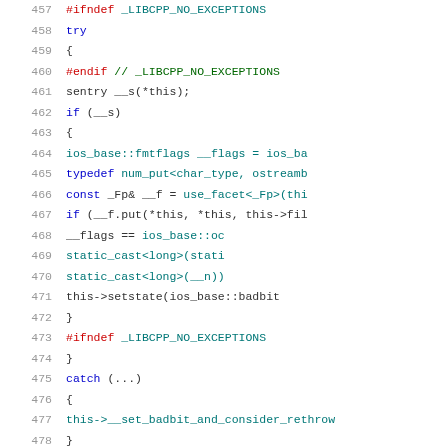[Figure (screenshot): C++ source code snippet showing lines 457-478, with syntax highlighting. Lines show preprocessor directives (#ifndef, #endif), try/catch blocks, sentry object, ios_base fmtflags, typedef num_put, use_facet, static_cast calls, and setstate.]